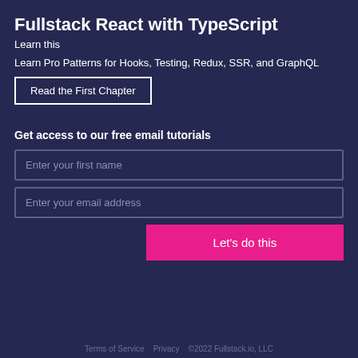Fullstack React with TypeScript
Learn this
Learn Pro Patterns for Hooks, Testing, Redux, SSR, and GraphQL
Read the First Chapter
Get access to our free email tutorials
Enter your first name
Enter your email address
Let's do this
Terms of Service   Privacy   ©2022 Fullstack.io, LLC